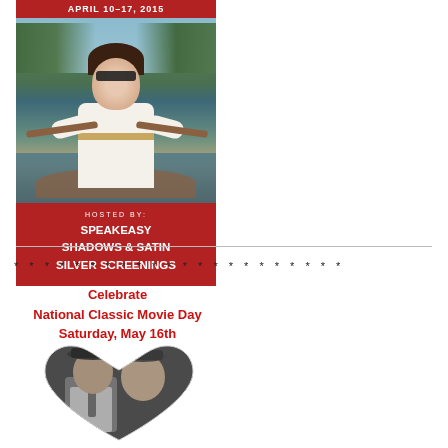[Figure (illustration): Event poster with red top banner reading 'APRIL 10-17, 2015', woman in white outfit rowing a boat, red bottom section with text 'HOSTED BY: SPEAKEASY SHADOWS & SATIN SILVER SCREENINGS']
* * * * * * * * * * * * * * * * * * * * * *
Celebrate
National Classic Movie Day
Saturday, May 16th
[Figure (photo): Black and white classic movie photo of a couple (man in fedora and woman) in a heart-shaped frame]